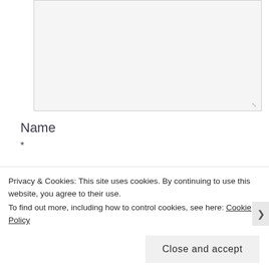[Figure (screenshot): A text area input field with light gray background and border, with a resize handle at the bottom right corner.]
Name
*
[Figure (screenshot): A single-line text input field with light gray background and border for entering a name.]
Privacy & Cookies: This site uses cookies. By continuing to use this website, you agree to their use.
To find out more, including how to control cookies, see here: Cookie Policy
Close and accept